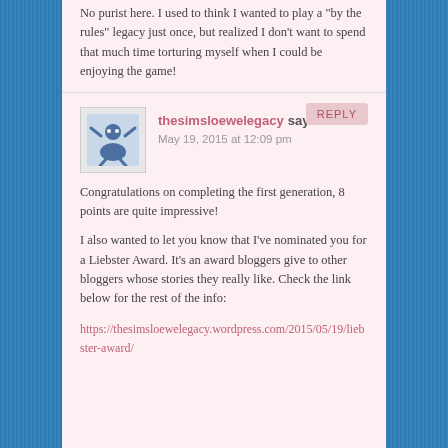No purist here. I used to think I wanted to play a "by the rules" legacy just once, but realized I don't want to spend that much time torturing myself when I could be enjoying the game!
REPLY
thesimsloewelegacy says:
May 19, 2015 at 12:09 pm
Congratulations on completing the first generation, 8 points are quite impressive!
I also wanted to let you know that I've nominated you for a Liebster Award. It's an award bloggers give to other bloggers whose stories they really like. Check the link below for the rest of the info:
https://thesimsloewelegacy.wordpress.com/2015/05/19/liebster-award/